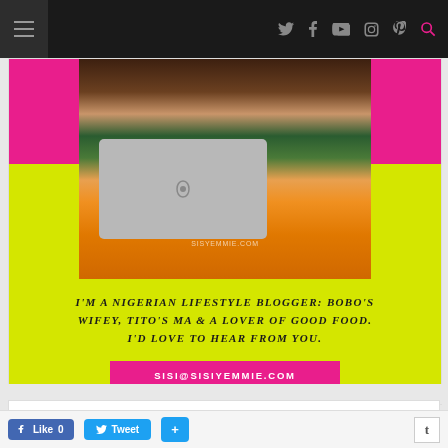Navigation bar with social icons: Twitter, Facebook, YouTube, Instagram, Pinterest, Search
[Figure (photo): Nigerian lifestyle blogger sitting with a laptop (Apple MacBook), wearing a floral top and orange bottoms, in a colorful room. Background has pink and yellow-green color blocks. Watermark: SISYEMMIE.COM]
I'M A NIGERIAN LIFESTYLE BLOGGER: BOBO'S WIFEY, TITO'S MA & A LOVER OF GOOD FOOD. I'D LOVE TO HEAR FROM YOU.
SISI@SISIYEMMIE.COM
YOU GET A NEW POST DAIL ...
Like 0  Tweet  +  t